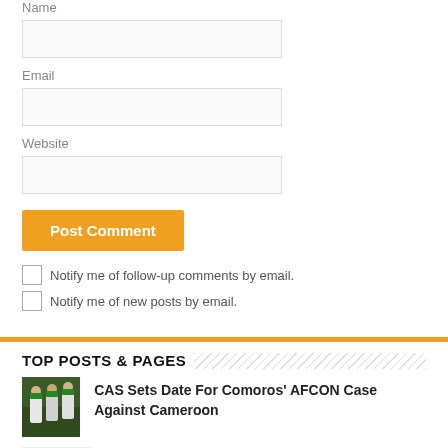Name
Email
Website
Post Comment
Notify me of follow-up comments by email.
Notify me of new posts by email.
TOP POSTS & PAGES
CAS Sets Date For Comoros' AFCON Case Against Cameroon
UN Launches ‘Suman Security’ Project In Cameroon